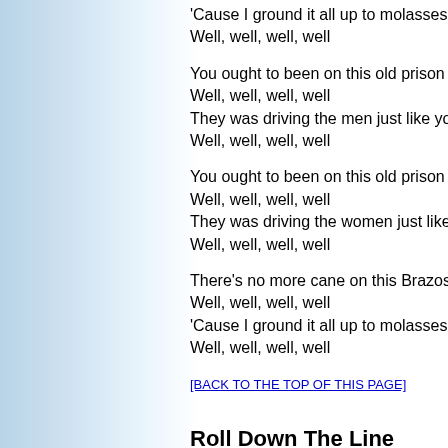'Cause I ground it all up to molasses, b...
Well, well, well, well
You ought to been on this old prison in...
Well, well, well, well
They was driving the men just like you w...
Well, well, well, well
You ought to been on this old prison in...
Well, well, well, well
They was driving the women just like th...
Well, well, well, well
There's no more cane on this Brazos, b...
Well, well, well, well
'Cause I ground it all up to molasses, b...
Well, well, well, well
[BACK TO THE TOP OF THIS PAGE]
Roll Down The Line
Way back yonder in Tennessee, they le...
To work down in the coal mine, against...